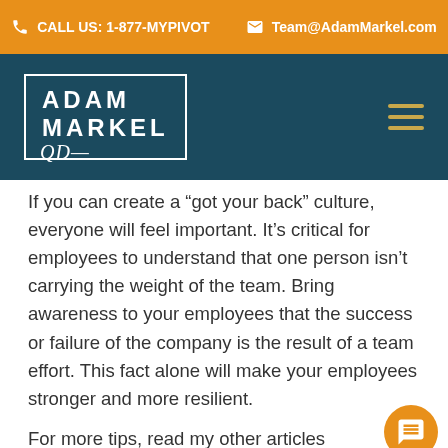CALL US: 1-877-MYPIVOT  Team@AdamMarkel.com
[Figure (logo): Adam Markel logo in a white border box on navy background with signature, and hamburger menu icon]
If you can create a “got your back” culture, everyone will feel important. It’s critical for employees to understand that one person isn’t carrying the weight of the team. Bring awareness to your employees that the success or failure of the company is the result of a team effort. This fact alone will make your employees stronger and more resilient.
For more tips, read my other articles